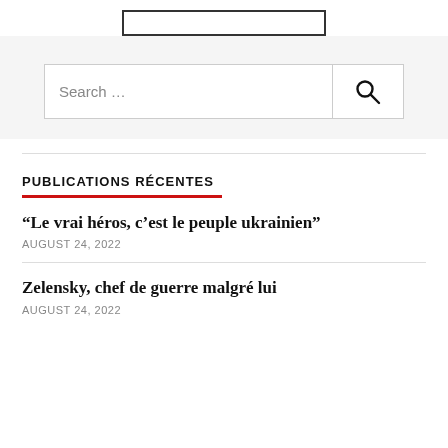[Figure (other): Logo box outline at top center of page]
Search …
PUBLICATIONS RÉCENTES
“Le vrai héros, c’est le peuple ukrainien”
AUGUST 24, 2022
Zelensky, chef de guerre malgré lui
AUGUST 24, 2022